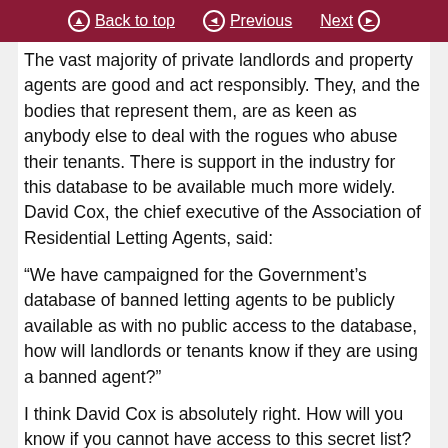Back to top | Previous | Next
The vast majority of private landlords and property agents are good and act responsibly. They, and the bodies that represent them, are as keen as anybody else to deal with the rogues who abuse their tenants. There is support in the industry for this database to be available much more widely. David Cox, the chief executive of the Association of Residential Letting Agents, said:
“We have campaigned for the Government’s database of banned letting agents to be publicly available as with no public access to the database, how will landlords or tenants know if they are using a banned agent?”
I think David Cox is absolutely right. How will you know if you cannot have access to this secret list?